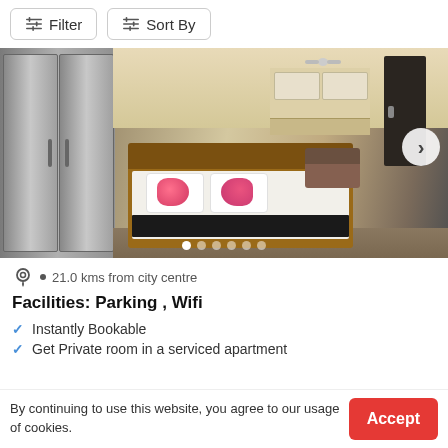Filter  Sort By
[Figure (photo): Hotel room photo showing a double bed with white linens and a black runner, floral pillows, large grey wardrobe on left, kitchenette area in background, dark door on right, ceiling fan visible. Navigation arrow on right side. Dot carousel indicators at bottom.]
21.0 kms from city centre
Facilities: Parking , Wifi
Instantly Bookable
Get Private room in a serviced apartment
By continuing to use this website, you agree to our usage of cookies.